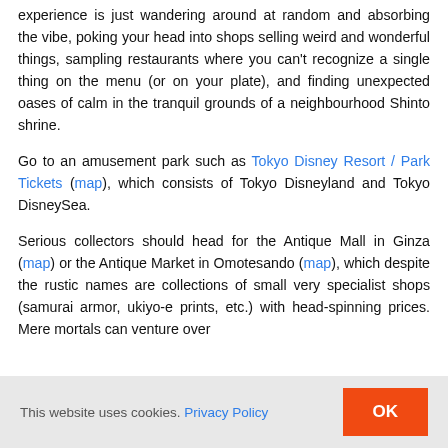experience is just wandering around at random and absorbing the vibe, poking your head into shops selling weird and wonderful things, sampling restaurants where you can't recognize a single thing on the menu (or on your plate), and finding unexpected oases of calm in the tranquil grounds of a neighbourhood Shinto shrine.
Go to an amusement park such as Tokyo Disney Resort / Park Tickets (map), which consists of Tokyo Disneyland and Tokyo DisneySea.
Serious collectors should head for the Antique Mall in Ginza (map) or the Antique Market in Omotesando (map), which despite the rustic names are collections of small very specialist shops (samurai armor, ukiyo-e prints, etc.) with head-spinning prices. Mere mortals can venture over
This website uses cookies. Privacy Policy OK